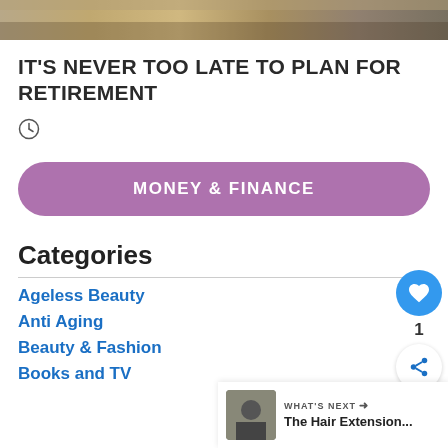[Figure (photo): Partial photo of people on a beach, showing lower body/feet area]
IT'S NEVER TOO LATE TO PLAN FOR RETIREMENT
[clock icon]
MONEY & FINANCE
Categories
Ageless Beauty
Anti Aging
Beauty & Fashion
Books and TV